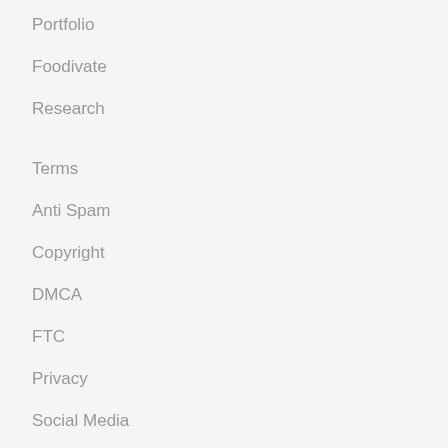Portfolio
Foodivate
Research
Terms
Anti Spam
Copyright
DMCA
FTC
Privacy
Social Media